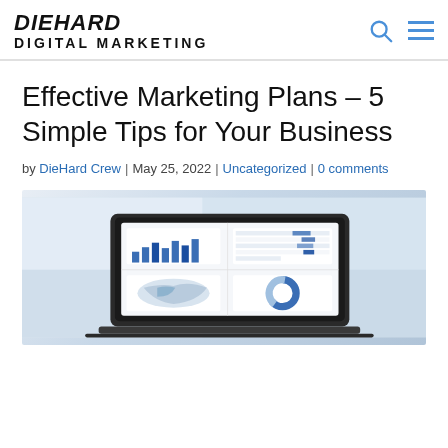DIEHARD DIGITAL MARKETING
Effective Marketing Plans – 5 Simple Tips for Your Business
by DieHard Crew | May 25, 2022 | Uncategorized | 0 comments
[Figure (photo): Laptop displaying marketing analytics dashboard with bar charts, map, and donut chart]